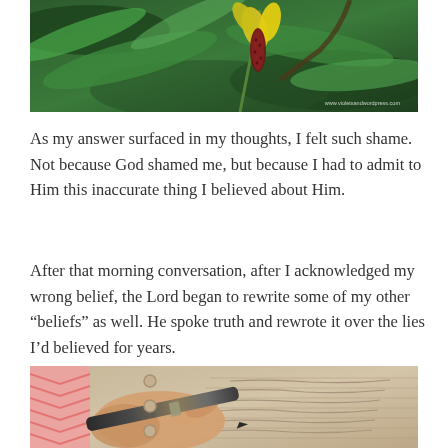[Figure (photo): Close-up photograph of a plant with yellow and dark red flower, green leaves in background, with a website watermark in the bottom right corner]
As my answer surfaced in my thoughts, I felt such shame. Not because God shamed me, but because I had to admit to Him this inaccurate thing I believed about Him.
After that morning conversation, after I acknowledged my wrong belief, the Lord began to rewrite some of my other “beliefs” as well. He spoke truth and rewrote it over the lies I’d believed for years.
[Figure (photo): Close-up photograph of a hand holding a pen, writing in a journal or notebook, with a pink chevron patterned bookmark or ribbon visible]